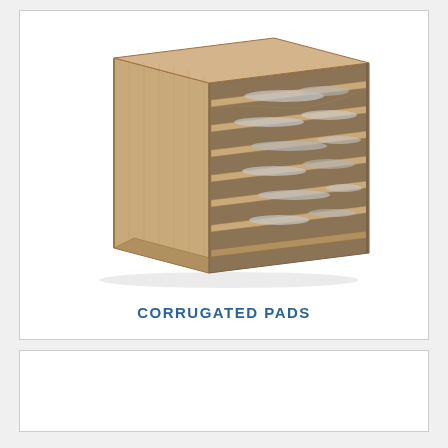[Figure (photo): A corrugated cardboard box open on one side showing multiple horizontal corrugated pad layers/dividers inside, with crumpled silver/metallic material between the layers. The box is tan/kraft colored.]
CORRUGATED PADS
[Figure (photo): Partially visible second product card at the bottom of the page, mostly white/blank.]